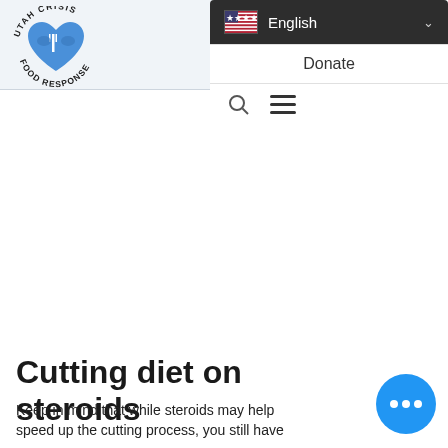[Figure (logo): Utah Crisis Food Response logo — blue heart with hands and fork, circular text reading UTAH CRISIS FOOD RESPONSE]
[Figure (screenshot): Website navigation dropdown showing US flag with English language selector and chevron, Donate link, search icon and hamburger menu icon]
Cutting diet on steroids
Keep in mind that while steroids may help speed up the cutting process, you still have